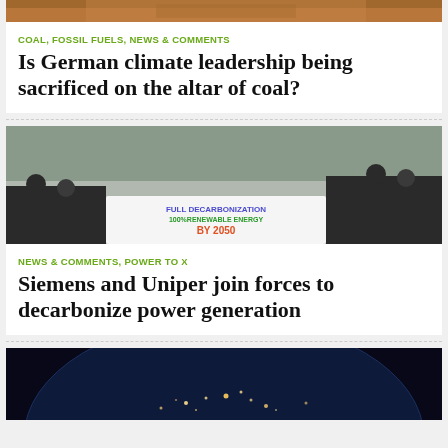[Figure (photo): Partial top image, brown/earth tones, cropped]
COAL, FOSSIL FUELS, NEWS & COMMENTS
Is German climate leadership being sacrificed on the altar of coal?
[Figure (photo): Protesters holding a banner reading FULL DECARBONIZATION 100% RENEWABLE ENERGY BY 2050]
NEWS & COMMENTS, POWER TO X
Siemens and Uniper join forces to decarbonize power generation
[Figure (photo): Earth from space at night, city lights visible]